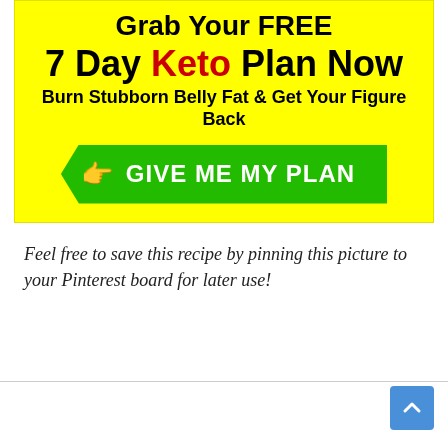[Figure (infographic): Yellow background promotional banner with black bold text 'Grab Your FREE 7 Day Keto Plan Now', subtitle 'Burn Stubborn Belly Fat & Get Your Figure Back', and a green arrow-shaped call-to-action button with a red pointing hand icon and white text 'GIVE ME MY PLAN']
Feel free to save this recipe by pinning this picture to your Pinterest board for later use!